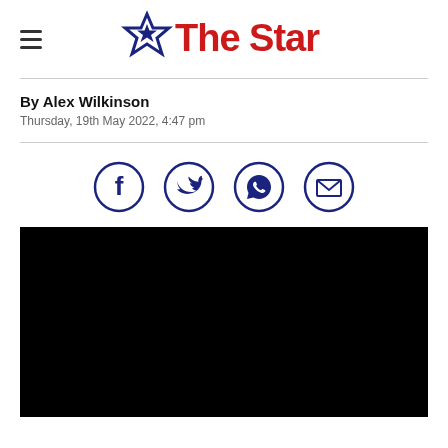The Star
By Alex Wilkinson
Thursday, 19th May 2022, 4:47 pm
[Figure (other): Social sharing icons: Facebook, Twitter, WhatsApp, Email]
[Figure (photo): Black/dark image area (content not visible)]